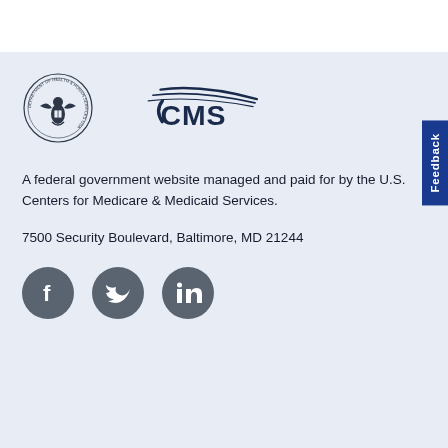[Figure (logo): HHS Department of Health & Human Services seal and CMS (Centers for Medicare & Medicaid Services) logo]
A federal government website managed and paid for by the U.S. Centers for Medicare & Medicaid Services.
7500 Security Boulevard, Baltimore, MD 21244
[Figure (illustration): Social media icons: Facebook, Twitter, LinkedIn]
Feedback